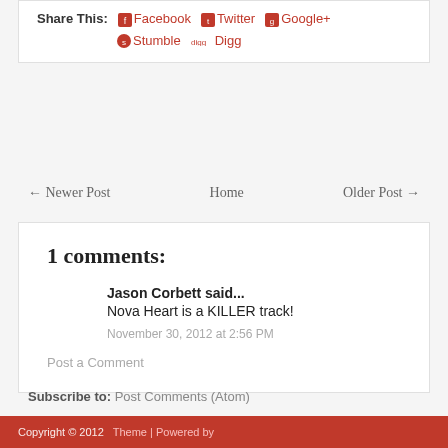Share This: Facebook Twitter Google+ Stumble Digg
← Newer Post   Home   Older Post →
1 comments:
Jason Corbett said...
Nova Heart is a KILLER track!
November 30, 2012 at 2:56 PM
Post a Comment
Subscribe to: Post Comments (Atom)